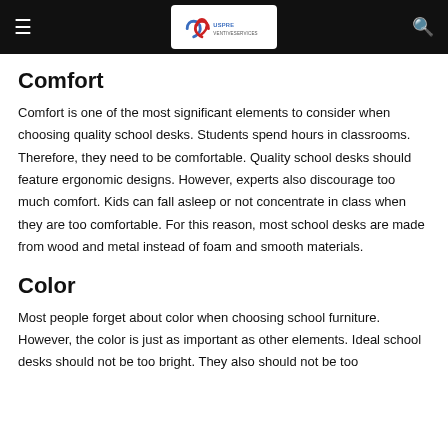[Figure (logo): USPreventiveServices logo with stylized ribbon/heart and text USPREVENTIVESERVICES on a white background, inside a black navigation bar with hamburger menu icon on left and search icon on right]
Comfort
Comfort is one of the most significant elements to consider when choosing quality school desks. Students spend hours in classrooms. Therefore, they need to be comfortable. Quality school desks should feature ergonomic designs. However, experts also discourage too much comfort. Kids can fall asleep or not concentrate in class when they are too comfortable. For this reason, most school desks are made from wood and metal instead of foam and smooth materials.
Color
Most people forget about color when choosing school furniture. However, the color is just as important as other elements. Ideal school desks should not be too bright. They also should not be too